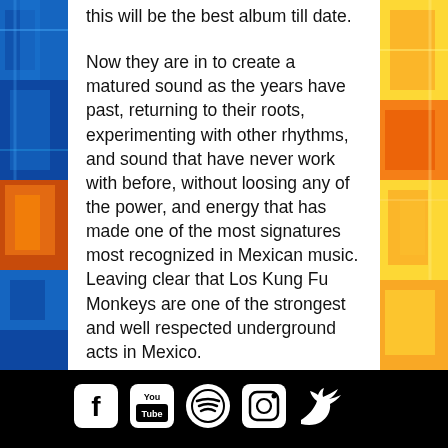this will be the best album till date.

Now they are in to create a matured sound as the years have past, returning to their roots, experimenting with other rhythms, and sound that have never work with before, without loosing any of the power, and energy that has made one of the most signatures most recognized in Mexican music. Leaving clear that Los Kung Fu Monkeys are one of the strongest and well respected underground acts in Mexico.

That is why Los Kung Fu Monkeys keep being the most consolidated, constant, and recognized bands to an international level…
[Figure (infographic): Social media icons row: Facebook, YouTube, Spotify, Instagram, Twitter on black background]